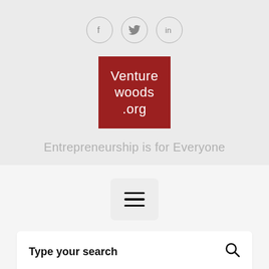[Figure (logo): Social media icons: Facebook (f), Twitter (bird), LinkedIn (in), each in outlined circles]
[Figure (logo): Venturewoods.org logo — red square with white text: Venture woods .org]
Entrepreneurship is for Everyone
[Figure (other): Hamburger menu button (three horizontal lines) on a light gray rounded rectangle]
Type your search
Home > Ecosystem > Tech Startups: We are NOT on our own